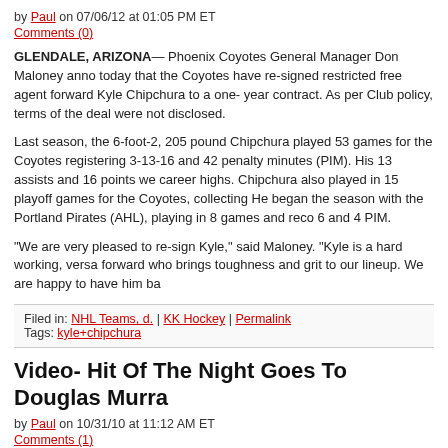by Paul on 07/06/12 at 01:05 PM ET
Comments (0)
GLENDALE, ARIZONA— Phoenix Coyotes General Manager Don Maloney announced today that the Coyotes have re-signed restricted free agent forward Kyle Chipchura to a one-year contract. As per Club policy, terms of the deal were not disclosed.
Last season, the 6-foot-2, 205 pound Chipchura played 53 games for the Coyotes registering 3-13-16 and 42 penalty minutes (PIM). His 13 assists and 16 points were both career highs. Chipchura also played in 15 playoff games for the Coyotes, collecting... He began the season with the Portland Pirates (AHL), playing in 8 games and recording 6 and 4 PIM.
“We are very pleased to re-sign Kyle,” said Maloney. “Kyle is a hard working, versatile forward who brings toughness and grit to our lineup. We are happy to have him ba...
Filed in: NHL Teams, d. | KK Hockey | Permalink
Tags: kyle+chipchura
Video- Hit Of The Night Goes To Douglas Murray
by Paul on 10/31/10 at 11:12 AM ET
Comments (1)
Kyle Chipchura gets rocked by Murray.